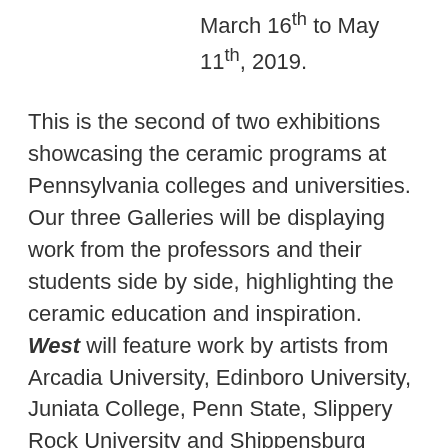March 16th to May 11th, 2019.
This is the second of two exhibitions showcasing the ceramic programs at Pennsylvania colleges and universities. Our three Galleries will be displaying work from the professors and their students side by side, highlighting the ceramic education and inspiration. West will feature work by artists from Arcadia University, Edinboro University, Juniata College, Penn State, Slippery Rock University and Shippensburg University.
There are many reasons for this theme. Oftentimes, teachers are so focused on their students, fostering skills, maintaining the classroom that